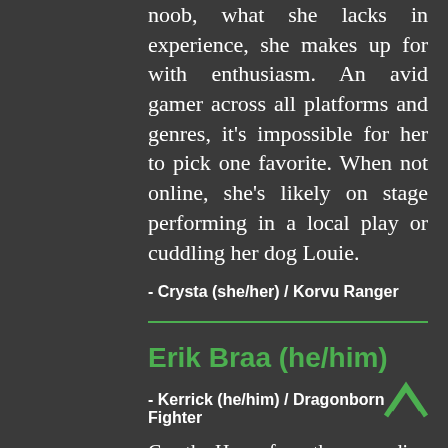noob, what she lacks in experience, she makes up for with enthusiasm. An avid gamer across all platforms and genres, it's impossible for her to pick one favorite. When not online, she's likely on stage performing in a local play or cuddling her dog Louie.
- Crysta (she/her) / Korvu Ranger
Erik Braa (he/him)
- Kerrick (he/him) / Dragonborn Fighter
Cue the Horns from the marauding raiders! Erik is the #VikingofVoices, well, he is a Viking for anything really. He got